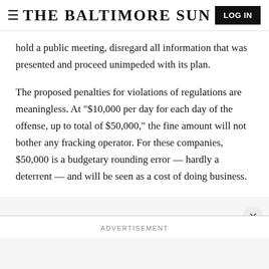THE BALTIMORE SUN
hold a public meeting, disregard all information that was presented and proceed unimpeded with its plan.
The proposed penalties for violations of regulations are meaningless. At "$10,000 per day for each day of the offense, up to total of $50,000," the fine amount will not bother any fracking operator. For these companies, $50,000 is a budgetary rounding error — hardly a deterrent — and will be seen as a cost of doing business.
ADVERTISEMENT